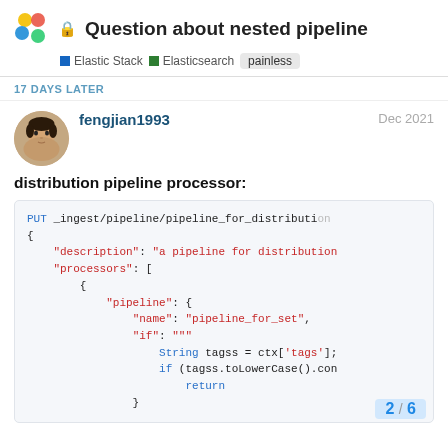Question about nested pipeline | Elastic Stack | Elasticsearch | painless
17 DAYS LATER
fengjian1993  Dec 2021
distribution pipeline processor:
PUT _ingest/pipeline/pipeline_for_distribution
{
    "description": "a pipeline for distribution
    "processors": [
        {
            "pipeline": {
                "name": "pipeline_for_set",
                "if": """
                    String tagss = ctx['tags'];
                    if (tagss.toLowerCase().con
                        return
                }